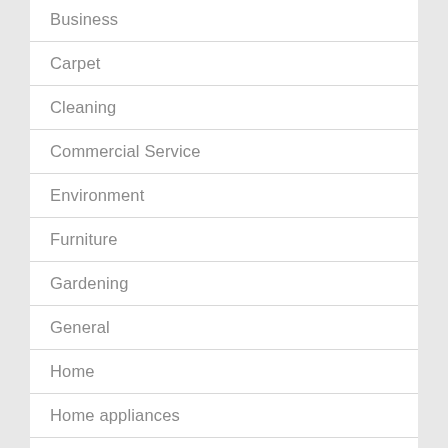Business
Carpet
Cleaning
Commercial Service
Environment
Furniture
Gardening
General
Home
Home appliances